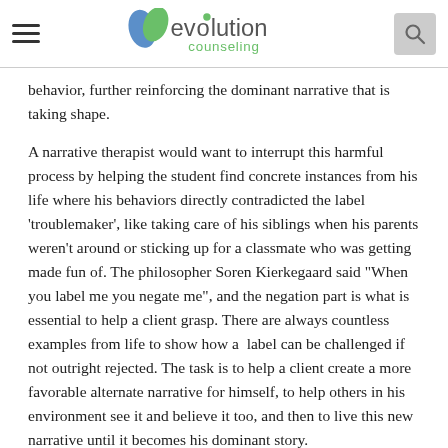evolution counseling
behavior, further reinforcing the dominant narrative that is taking shape.
A narrative therapist would want to interrupt this harmful process by helping the student find concrete instances from his life where his behaviors directly contradicted the label ‘troublemaker’, like taking care of his siblings when his parents weren’t around or sticking up for a classmate who was getting made fun of. The philosopher Soren Kierkegaard said “When you label me you negate me”, and the negation part is what is essential to help a client grasp. There are always countless examples from life to show how a  label can be challenged if not outright rejected. The task is to help a client create a more favorable alternate narrative for himself, to help others in his environment see it and believe it too, and then to live this new narrative until it becomes his dominant story.